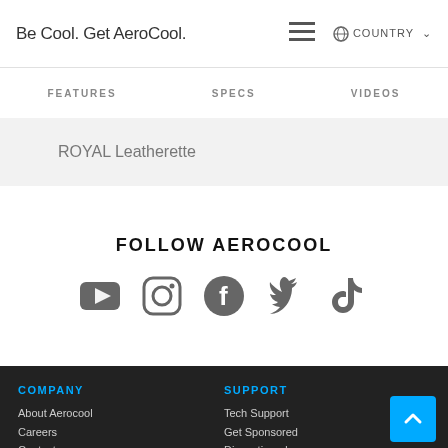Be Cool. Get AeroCool.
FEATURES   SPECS   VIDEOS
ROYAL Leatherette
FOLLOW AEROCOOL
[Figure (other): Social media icons: YouTube, Instagram, Facebook, Twitter, TikTok]
COMPANY
About Aerocool
Careers
Contact

SUPPORT
Tech Support
Get Sponsored
Discontinued